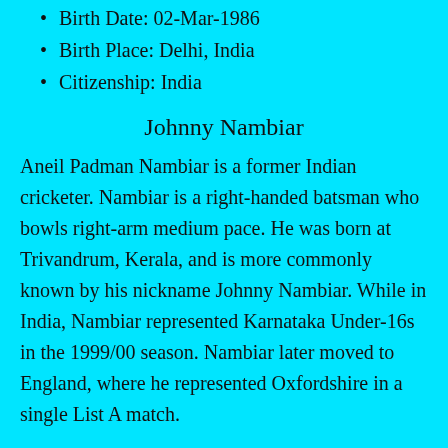Birth Date: 02-Mar-1986
Birth Place: Delhi, India
Citizenship: India
Johnny Nambiar
Aneil Padman Nambiar is a former Indian cricketer. Nambiar is a right-handed batsman who bowls right-arm medium pace. He was born at Trivandrum, Kerala, and is more commonly known by his nickname Johnny Nambiar. While in India, Nambiar represented Karnataka Under-16s in the 1999/00 season. Nambiar later moved to England, where he represented Oxfordshire in a single List A match.
Birth Date: 02-Mar-1984
Birth Place: Thiruvananthapuram, Kerala
Citizenship: India